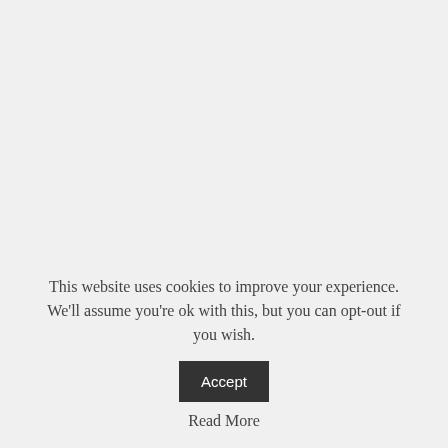← PREV POST
Bank of Punjab announces financial results
NEXT POST →
Stock market loses 194 points
This website uses cookies to improve your experience. We'll assume you're ok with this, but you can opt-out if you wish.
Read More